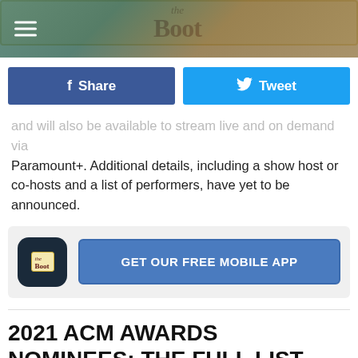the Boot
[Figure (other): Facebook Share button and Twitter Tweet button row]
and will also be available to stream live and on demand via Paramount+. Additional details, including a show host or co-hosts and a list of performers, have yet to be announced.
[Figure (other): The Boot app promo box with app icon and GET OUR FREE MOBILE APP button]
2021 ACM AWARDS NOMINEES: THE FULL LIST
Maren Morris and Chris Stapleton lead all 2021 ACM Awards nominees, with six nods each. Miranda Lambert has five